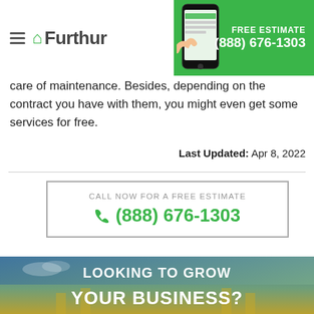Furthur — FREE ESTIMATE (888) 676-1303
care of maintenance. Besides, depending on the contract you have with them, you might even get some services for free.
Last Updated: Apr 8, 2022
CALL NOW FOR A FREE ESTIMATE (888) 676-1303
[Figure (infographic): Banner with text 'LOOKING TO GROW YOUR BUSINESS?' on a gradient blue-to-gold background with architectural/building elements]